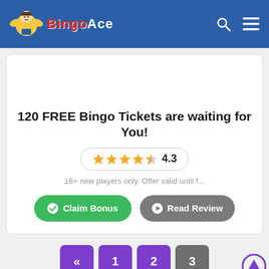Bingo Ace
120 FREE Bingo Tickets are waiting for You!
4.3
18+ new players only. Offer valid until f...
Claim Bonus
Read Review
« 1 2 3